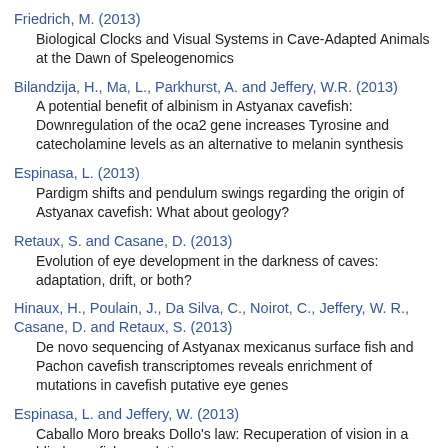Friedrich, M. (2013)
Biological Clocks and Visual Systems in Cave-Adapted Animals at the Dawn of Speleogenomics
Bilandzija, H., Ma, L., Parkhurst, A. and Jeffery, W.R. (2013)
A potential benefit of albinism in Astyanax cavefish: Downregulation of the oca2 gene increases Tyrosine and catecholamine levels as an alternative to melanin synthesis
Espinasa, L. (2013)
Pardigm shifts and pendulum swings regarding the origin of Astyanax cavefish: What about geology?
Retaux, S. and Casane, D. (2013)
Evolution of eye development in the darkness of caves: adaptation, drift, or both?
Hinaux, H., Poulain, J., Da Silva, C., Noirot, C., Jeffery, W. R., Casane, D. and Retaux, S. (2013)
De novo sequencing of Astyanax mexicanus surface fish and Pachon cavefish transcriptomes reveals enrichment of mutations in cavefish putative eye genes
Espinasa, L. and Jeffery, W. (2013)
Caballo Moro breaks Dollo's law: Recuperation of vision in a blind cavefish population